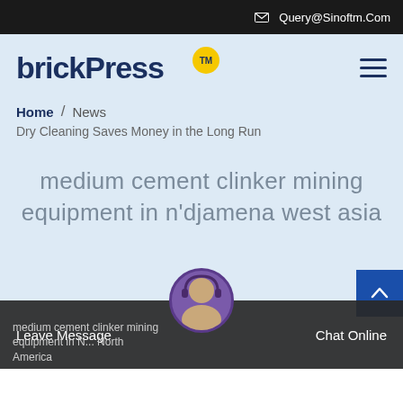Query@Sinoftm.Com
[Figure (logo): brickPress TM logo in dark navy blue with yellow circle TM badge]
Home / News
Dry Cleaning Saves Money in the Long Run
medium cement clinker mining equipment in n'djamena west asia
Leave Message   Chat Online
medium cement clinker mining equipment in North America